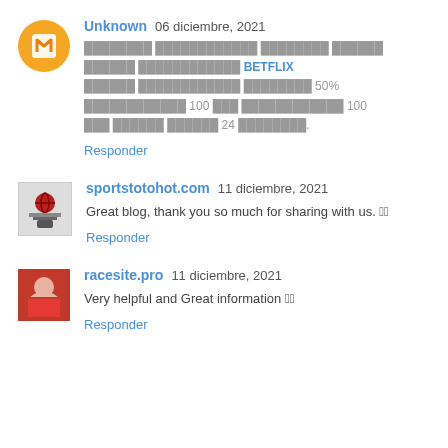Unknown 06 diciembre, 2021
[Thai text about BETFLIX - 50%, 100, 100, 24]
Responder
sportstotohot.com 11 diciembre, 2021
Great blog, thank you so much for sharing with us. 🏻🏻
Responder
racesite.pro 11 diciembre, 2021
Very helpful and Great information 🏻🏻
Responder